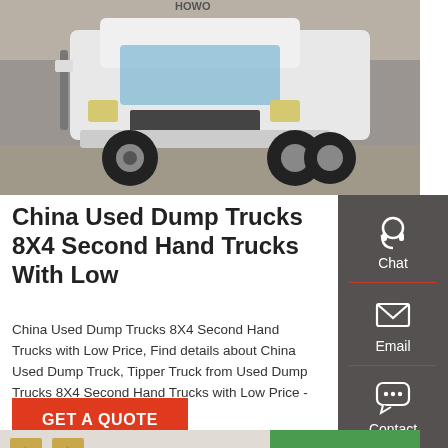[Figure (photo): White HOWO semi-truck cab (tractor unit) parked on a concrete surface, front-left view, with a stone wall in the background.]
China Used Dump Trucks 8X4 Second Hand Trucks With Low
China Used Dump Trucks 8X4 Second Hand Trucks with Low Price, Find details about China Used Dump Truck, Tipper Truck from Used Dump Trucks 8X4 Second Hand Trucks with Low Price - Transauto Group Limited
[Figure (screenshot): Dark grey sidebar with Chat (headset icon), Email (envelope icon), and Contact (chat bubble icon) buttons.]
[Figure (photo): Partial view of a building facade with Chinese characters and a green tent/canopy structure.]